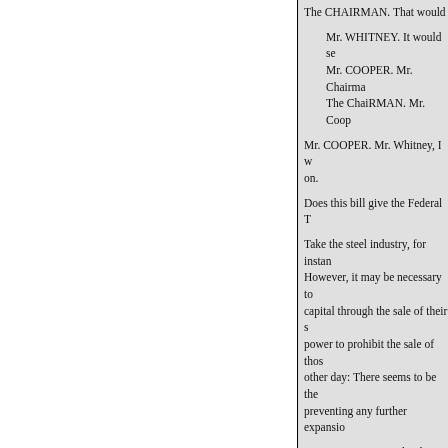The CHAIRMAN. That would
Mr. WHITNEY. It would se
Mr. COOPER. Mr. Chairma
The ChaiRMAN. Mr. Coop
Mr. COOPER. Mr. Whitney, I w on.
Does this bill give the Federal T
Take the steel industry, for instan However, it may be necessary to capital through the sale of their s power to prohibit the sale of thos other day: There seems to be the preventing any further expansio
Now, I Now, under this bill, the had to do
Mr. WHITNEY. I believe so
The CHAIRMAN. You beli
Mr. WHITNEY. Yes, sir; I belie